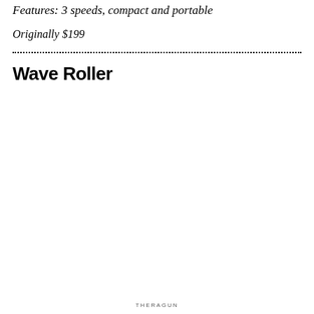Features: 3 speeds, compact and portable
Originally $199
Wave Roller
THERAGUN